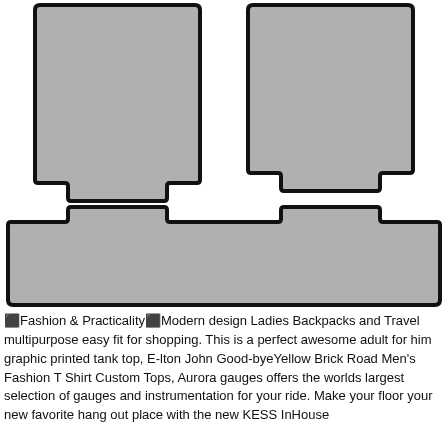[Figure (illustration): Product illustration of three car floor mats: two front mats side by side on top, and one wide rear mat below. All mats are gray with black borders and custom-shaped edges.]
⬛Fashion & Practicality⬛Modern design Ladies Backpacks and Travel multipurpose easy fit for shopping. This is a perfect awesome adult for him graphic printed tank top, E-lton John Good-byeYellow Brick Road Men's Fashion T Shirt Custom Tops, Aurora gauges offers the worlds largest selection of gauges and instrumentation for your ride. Make your floor your new favorite hang out place with the new KESS InHouse